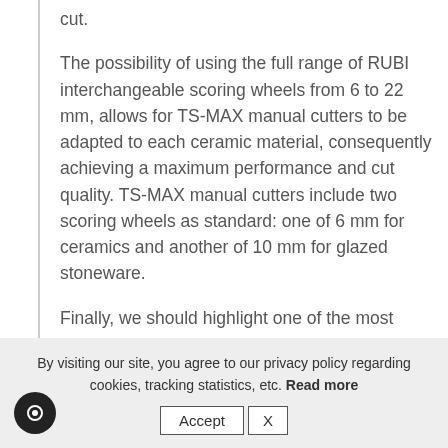cut.
The possibility of using the full range of RUBI interchangeable scoring wheels from 6 to 22 mm, allows for TS-MAX manual cutters to be adapted to each ceramic material, consequently achieving a maximum performance and cut quality. TS-MAX manual cutters include two scoring wheels as standard: one of 6 mm for ceramics and another of 10 mm for glazed stoneware.
Finally, we should highlight one of the most
By visiting our site, you agree to our privacy policy regarding cookies, tracking statistics, etc. Read more